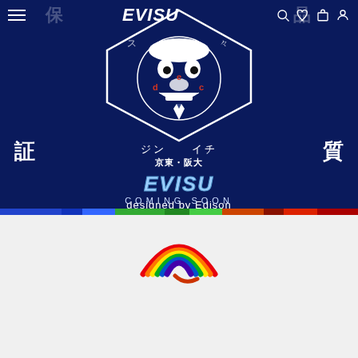[Figure (screenshot): EVISU brand website screenshot showing dark navy blue hero banner with Japanese kanji characters, EVISU logo with deity face illustration, 'designed by Edison' text, 'COMING SOON' text, color test bar strip, and bottom section with rainbow EVISU logo on gray background]
EVISU — Navigation bar with hamburger menu, EVISU logo, search, wishlist, cart, and account icons
EVISU designed by Edison
COMING SOON